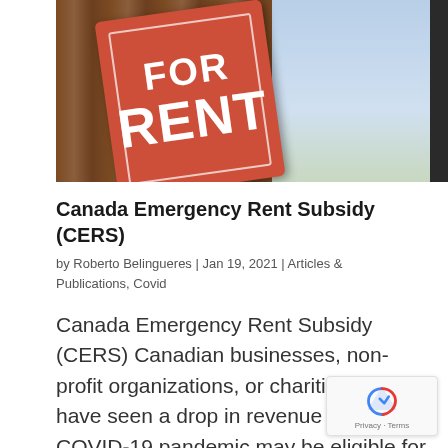[Figure (photo): A red 'FOR RENT' sign leaning against a wooden surface, with a blurred background showing a street scene through glass.]
Canada Emergency Rent Subsidy (CERS)
by Roberto Belingueres | Jan 19, 2021 | Articles & Publications, Covid
Canada Emergency Rent Subsidy (CERS) Canadian businesses, non-profit organizations, or charities who have seen a drop in revenue due to the COVID-19 pandemic may be eligible for the Canada Emergency Rent Subsidy (CERS) to cover part